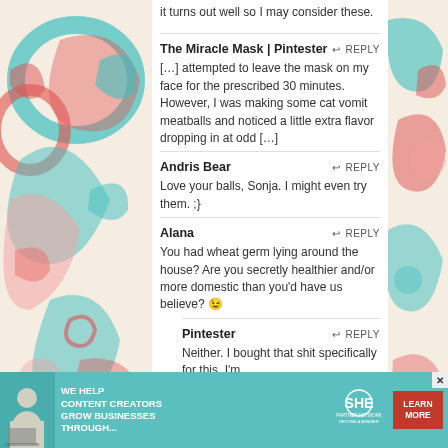it turns out well so I may consider these.
The Miracle Mask | Pintester
REPLY
[…] attempted to leave the mask on my face for the prescribed 30 minutes. However, I was making some cat vomit meatballs and noticed a little extra flavor dropping in at odd […]
Andris Bear
REPLY
Love your balls, Sonja. I might even try them. ;}
Alana
REPLY
You had wheat germ lying around the house? Are you secretly healthier and/or more domestic than you'd have us believe? 😉
Pintester
REPLY
Neither. I bought that shit specifically for this. I'm
[Figure (infographic): Banner advertisement for SHE Media Partner Network reading: WE HELP CONTENT CREATORS GROW BUSINESSES THROUGH... with LEARN MORE button]